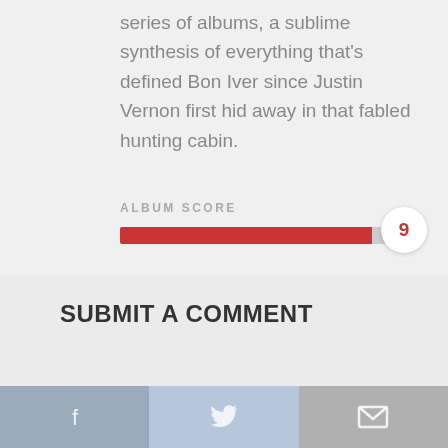series of albums, a sublime synthesis of everything that's defined Bon Iver since Justin Vernon first hid away in that fabled hunting cabin.
ALBUM SCORE
[Figure (infographic): Album score bar showing a red progress bar filled to 90% with a white circular badge on the right displaying the score '9' in red.]
SUBMIT A COMMENT
[Figure (infographic): Social sharing buttons: Facebook (blue-grey), Twitter (light blue), and Email/envelope (grey), each with respective icons.]